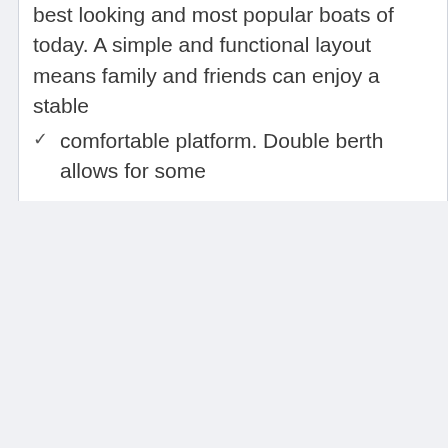best looking and most popular boats of today. A simple and functional layout means family and friends can enjoy a stable comfortable platform. Double berth allows for some